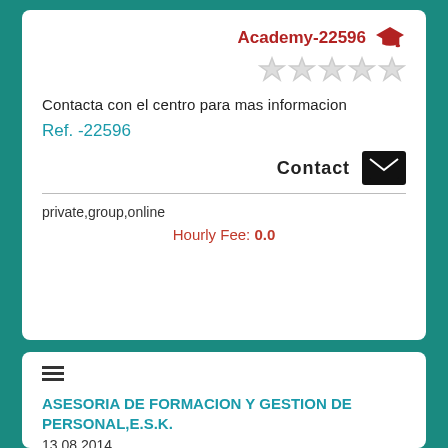Academy-22596
[Figure (illustration): Five empty star rating icons (gray outlines)]
Contacta con el centro para mas informacion
Ref. -22596
Contact
private,group,online
Hourly Fee: 0.0
[Figure (illustration): Hamburger menu icon (three horizontal lines)]
ASESORIA DE FORMACION Y GESTION DE PERSONAL,E.S.K.
13.08.2014